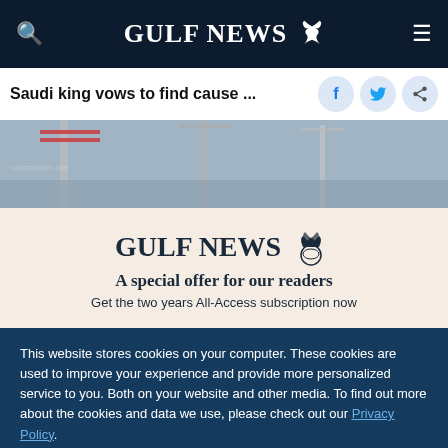GULF NEWS
Saudi king vows to find cause ...
[Figure (photo): Construction site with cranes and scaffolding against a cloudy sky]
GULF NEWS
A special offer for our readers
Get the two years All-Access subscription now
This website stores cookies on your computer. These cookies are used to improve your experience and provide more personalized service to you. Both on your website and other media. To find out more about the cookies and data we use, please check out our Privacy Policy.
OK